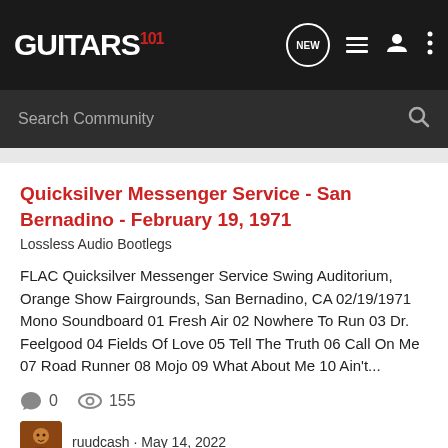[Figure (screenshot): Guitars101 forum website navigation bar with logo, NEW bubble, list icon, user icon, and three-dot menu icon]
Quicksilver Messenger Service - San Bernadino - February 19, 1971
Lossless Audio Bootlegs
FLAC Quicksilver Messenger Service Swing Auditorium, Orange Show Fairgrounds, San Bernadino, CA 02/19/1971 Mono Soundboard 01 Fresh Air 02 Nowhere To Run 03 Dr. Feelgood 04 Fields Of Love 05 Tell The Truth 06 Call On Me 07 Road Runner 08 Mojo 09 What About Me 10 Ain't...
0 comments, 155 views
ruudcash · May 14, 2022
flac quicksilver messenger